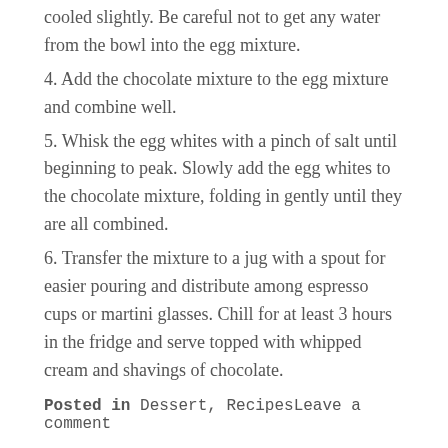cooled slightly. Be careful not to get any water from the bowl into the egg mixture.
4. Add the chocolate mixture to the egg mixture and combine well.
5. Whisk the egg whites with a pinch of salt until beginning to peak. Slowly add the egg whites to the chocolate mixture, folding in gently until they are all combined.
6. Transfer the mixture to a jug with a spout for easier pouring and distribute among espresso cups or martini glasses. Chill for at least 3 hours in the fridge and serve topped with whipped cream and shavings of chocolate.
Posted in Dessert, RecipesLeave a comment
Shrimp and Scallion Shumai